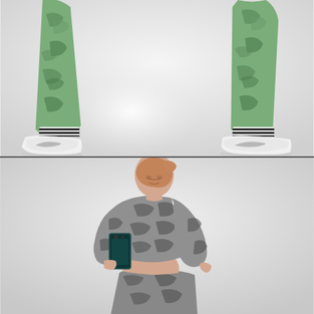[Figure (photo): Close-up of a person's legs wearing green camouflage-patterned athletic leggings and white Nike sneakers with black striped socks, against a light grey/white background. The person appears to be in a walking or stepping pose.]
[Figure (photo): A young woman wearing a grey camouflage seamless athletic set (long-sleeve crop top and high-waist leggings), holding a dark teal smartphone, looking down at it. Her hair is pulled back. She has one hand on her hip. Light grey studio background.]